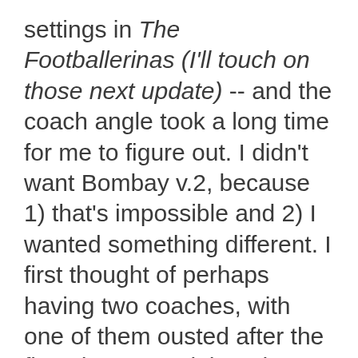settings in The Footballerinas (I'll touch on those next update) -- and the coach angle took a long time for me to figure out. I didn't want Bombay v.2, because 1) that's impossible and 2) I wanted something different. I first thought of perhaps having two coaches, with one of them ousted after the first chapter and the other one remaining, though not exactly trusting of the talents of the team. I went so far as to maybe play with expectations and have the